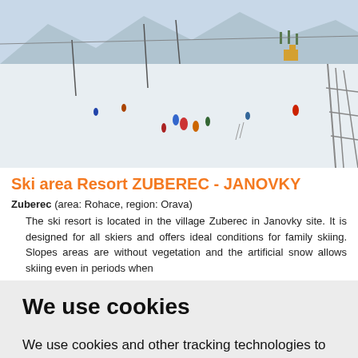[Figure (photo): Ski slope panorama showing snowy mountain landscape with skiers, ski lifts, and yellow buildings in the background. Foreground shows people skiing and a metal fence structure on the right.]
Ski area Resort ZUBEREC - JANOVKY
Zuberec (area: Rohace, region: Orava)
The ski resort is located in the village Zuberec in Janovky site. It is designed for all skiers and offers ideal conditions for family skiing. Slopes areas are without vegetation and the artificial snow allows skiing even in periods when
We use cookies
We use cookies and other tracking technologies to improve your browsing experience on our website, to show you personalized content and targeted ads, to analyze our website traffic, and